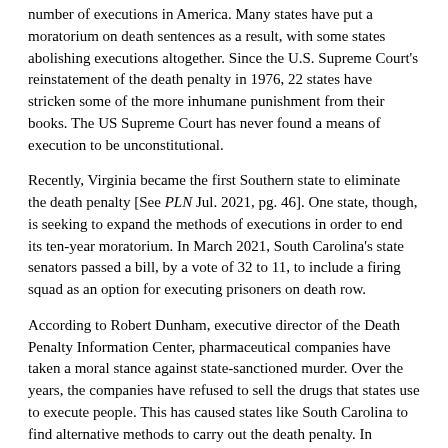number of executions in America. Many states have put a moratorium on death sentences as a result, with some states abolishing executions altogether. Since the U.S. Supreme Court's reinstatement of the death penalty in 1976, 22 states have stricken some of the more inhumane punishment from their books. The US Supreme Court has never found a means of execution to be unconstitutional.
Recently, Virginia became the first Southern state to eliminate the death penalty [See PLN Jul. 2021, pg. 46]. One state, though, is seeking to expand the methods of executions in order to end its ten-year moratorium. In March 2021, South Carolina's state senators passed a bill, by a vote of 32 to 11, to include a firing squad as an option for executing prisoners on death row.
According to Robert Dunham, executive director of the Death Penalty Information Center, pharmaceutical companies have taken a moral stance against state-sanctioned murder. Over the years, the companies have refused to sell the drugs that states use to execute people. This has caused states like South Carolina to find alternative methods to carry out the death penalty. In Oklahoma, efforts are under way to use lethal gas, while Tennessee is offering condemned prisoners the option to die by electrocution.
Currently, under South Carolina law, prisoners who choose lethal injection cannot be forced to die by the electric chair if injection drugs are unavailable. The new senate bill would allow prisoners to choose the electric chair, lethal